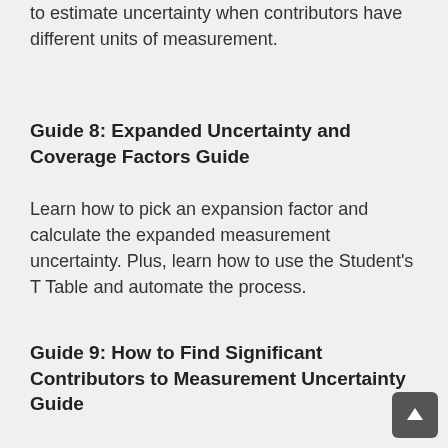to estimate uncertainty when contributors have different units of measurement.
Guide 8: Expanded Uncertainty and Coverage Factors Guide
Learn how to pick an expansion factor and calculate the expanded measurement uncertainty. Plus, learn how to use the Student's T Table and automate the process.
Guide 9: How to Find Significant Contributors to Measurement Uncertainty Guide
Learn how to evaluate and validate your uncertainty budgets. Plus, learn how to